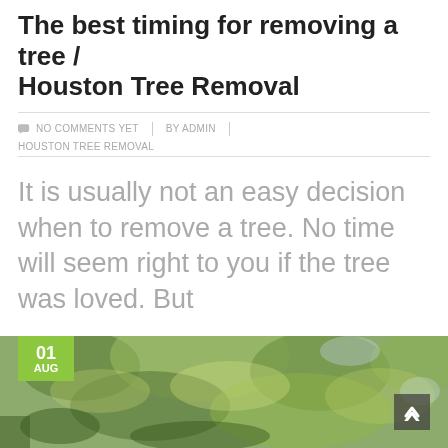The best timing for removing a tree / Houston Tree Removal
NO COMMENTS YET  |  BY ADMIN  |  HOUSTON TREE REMOVAL
It is usually not an easy decision when to remove a tree. No time will seem right to you if the tree was loved. But
READ MORE →
[Figure (photo): Photograph of a tree canopy with green and yellow foliage, with a green date badge showing 01 AUG in the bottom-left corner and a scroll-up arrow button in the bottom-right corner.]